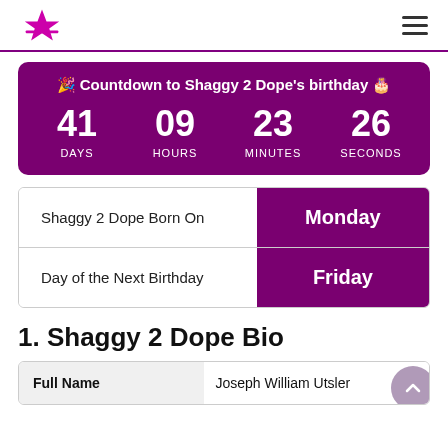The Celebrities Birthday (logo) — Hamburger menu
[Figure (infographic): Countdown timer showing 41 days, 09 hours, 23 minutes, 26 seconds to Shaggy 2 Dope's birthday. Purple background with white text and party/cake emojis.]
| Shaggy 2 Dope Born On | Monday |
| Day of the Next Birthday | Friday |
1. Shaggy 2 Dope Bio
| Full Name | Joseph William Utsler |
| --- | --- |